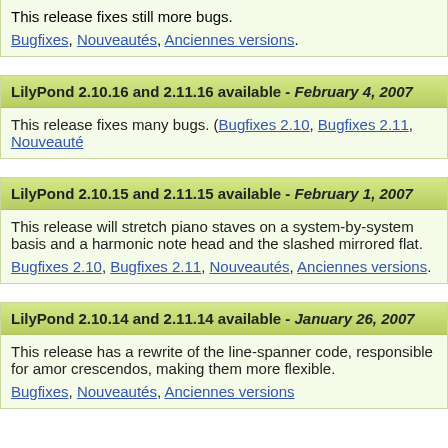This release fixes still more bugs.
Bugfixes, Nouveautés, Anciennes versions.
LilyPond 2.10.16 and 2.11.16 available - February 4, 2007
This release fixes many bugs. (Bugfixes 2.10, Bugfixes 2.11, Nouveauté
LilyPond 2.10.15 and 2.11.15 available - February 1, 2007
This release will stretch piano staves on a system-by-system basis and a harmonic note head and the slashed mirrored flat.
Bugfixes 2.10, Bugfixes 2.11, Nouveautés, Anciennes versions.
LilyPond 2.10.14 and 2.11.14 available - January 26, 2007
This release has a rewrite of the line-spanner code, responsible for amor crescendos, making them more flexible.
Bugfixes, Nouveautés, Anciennes versions